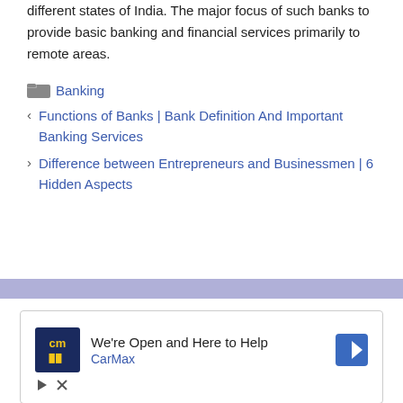different states of India. The major focus of such banks to provide basic banking and financial services primarily to remote areas.
Banking
< Functions of Banks | Bank Definition And Important Banking Services
> Difference between Entrepreneurs and Businessmen | 6 Hidden Aspects
[Figure (other): Horizontal lavender/periwinkle divider bar spanning full width]
[Figure (screenshot): Advertisement box: CarMax logo with 'We're Open and Here to Help' text and navigation arrow icon, with play and close controls below]